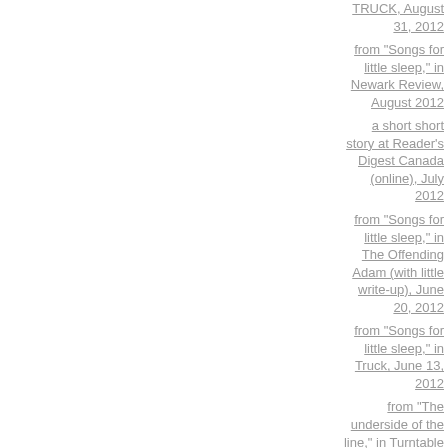TRUCK, August 31, 2012
from "Songs for little sleep," in Newark Review, August 2012
a short short story at Reader's Digest Canada (online), July 2012
from "Songs for little sleep," in The Offending Adam (with little write-up), June 20, 2012
from "Songs for little sleep," in Truck, June 13, 2012
from "The underside of the line," in Turntable + Blue Light, May 2012
from "Songs for little sleep," in foam:e 9, April 2012
from "Songs for little sleep," in